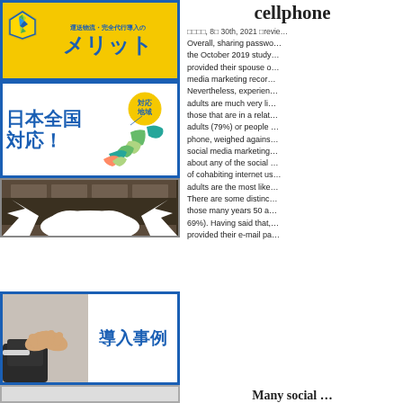[Figure (illustration): Yellow background banner with blue Japanese text メリット (merits/benefits) and a logo icon, with smaller Japanese text above.]
[Figure (illustration): White bordered banner with blue Japanese text 日本全国対応！(Nationwide Japan support!) and a colorful map of Japan with a yellow circle labeled 対応地域.]
[Figure (photo): Dark warehouse/logistics photo with white cloud-burst graphic overlay.]
[Figure (photo): Banner with handshake photo on left and blue Japanese text 導入事例 (case studies/introduction examples) on right.]
[Figure (illustration): Bottom partial banner strip.]
cellphone
□□□□, 8□ 30th, 2021 □revie… Overall, sharing passwo… the October 2019 study… provided their spouse o… media marketing recor… Nevertheless, experien… adults are much very li… those that are in a relat… adults (79%) or people … phone, weighed agains… social media marketing… about any of the social … of cohabiting internet us… adults are the most like… There are some distinc… those many years 50 a… 69%). Having said that,… provided their e-mail pa…
Many social …